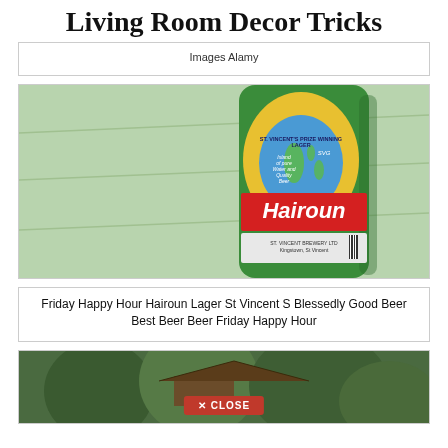Living Room Decor Tricks
images Alamy
[Figure (photo): Close-up photo of a green Hairoun lager beer bottle (St. Vincent's Prize Winning Lager) on a light green wooden surface. The label reads 'ST. VINCENT'S PRIZE WINNING LAGER' and 'Hairoun' in bold red and white. Bottom of label shows 'ST. VINCENT BREWERY LTD Kingstown, St Vincent'.]
Friday Happy Hour Hairoun Lager St Vincent S Blessedly Good Beer Best Beer Beer Friday Happy Hour
[Figure (photo): Photo of a tropical forest scene with a wooden structure/gazebo and lush green foliage. A red 'CLOSE' button overlay is visible at the bottom center.]